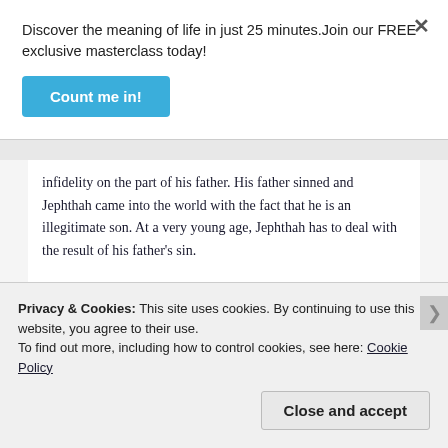Discover the meaning of life in just 25 minutes.Join our FREE exclusive masterclass today!
Count me in!
infidelity on the part of his father. His father sinned and Jephthah came into the world with the fact that he is an illegitimate son. At a very young age, Jephthah has to deal with the result of his father's sin.
When his half-brothers grew up and it was time to divide the inheritance of their father,
Privacy & Cookies: This site uses cookies. By continuing to use this website, you agree to their use.
To find out more, including how to control cookies, see here: Cookie Policy
Close and accept